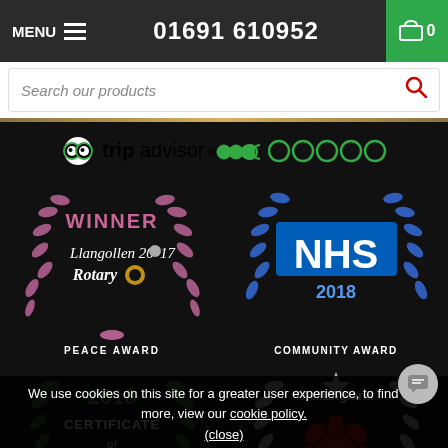MENU  01691 610952  0
Search our products
[Figure (logo): TripAdvisor logo with 5 green bubble rating circles]
[Figure (logo): Llangollen 2017 Rotary WINNER PEACE AWARD badge with pink laurel wreath]
[Figure (logo): NHS 2018 COMMUNITY AWARD badge with blue laurel wreath]
[Figure (logo): 2018 Certificate of Excellence with green laurel wreath]
[Figure (logo): VisitEngland Quality Assured Visitor Attraction badge with white laurel wreath and red rose]
We use cookies on this site for a greater user experience, to find out more, view our cookie policy.
(close)